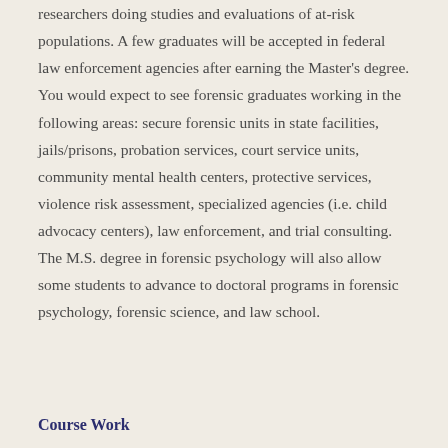researchers doing studies and evaluations of at-risk populations. A few graduates will be accepted in federal law enforcement agencies after earning the Master's degree. You would expect to see forensic graduates working in the following areas: secure forensic units in state facilities, jails/prisons, probation services, court service units, community mental health centers, protective services, violence risk assessment, specialized agencies (i.e. child advocacy centers), law enforcement, and trial consulting. The M.S. degree in forensic psychology will also allow some students to advance to doctoral programs in forensic psychology, forensic science, and law school.
Course Work